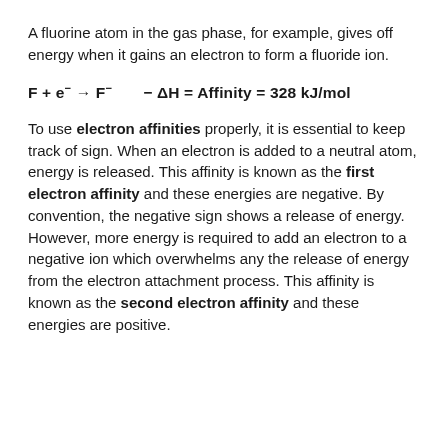A fluorine atom in the gas phase, for example, gives off energy when it gains an electron to form a fluoride ion.
To use electron affinities properly, it is essential to keep track of sign. When an electron is added to a neutral atom, energy is released. This affinity is known as the first electron affinity and these energies are negative. By convention, the negative sign shows a release of energy. However, more energy is required to add an electron to a negative ion which overwhelms any the release of energy from the electron attachment process. This affinity is known as the second electron affinity and these energies are positive.